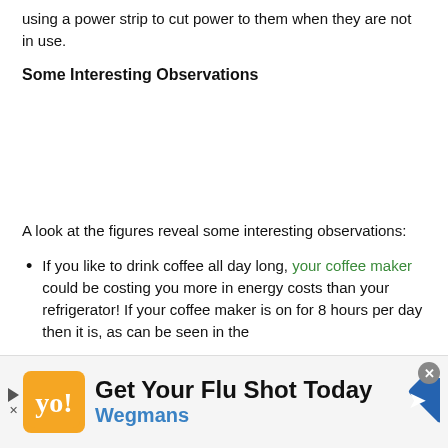using a power strip to cut power to them when they are not in use.
Some Interesting Observations
A look at the figures reveal some interesting observations:
If you like to drink coffee all day long, your coffee maker could be costing you more in energy costs than your refrigerator! If your coffee maker is on for 8 hours per day then it is, as can be seen in the
[Figure (infographic): Advertisement banner: Get Your Flu Shot Today - Wegmans, with play button, logo, and navigation icon]